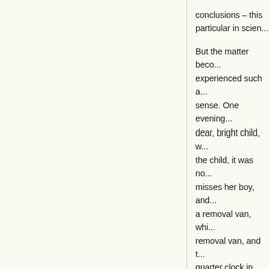conclusions – this particular in scien... But the matter beco... experienced such a... sense. One evening... dear, bright child, w... the child, it was no... misses her boy, and... a removal van, whi... removal van, and t... quarter clock in the... us to help, to lift th... the carriage. Now t... boy was here, one ... the time – it has co... However, it was str... only concerned to l...